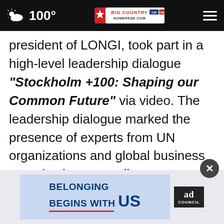100° Big Country Homepage
president of LONGI, took part in a high-level leadership dialogue "Stockholm +100: Shaping our Common Future" via video. The leadership dialogue marked the presence of experts from UN organizations and global business organizations as well as corporate executives, who spoke on rebuilding multilateralism, making affordable and clean energy accessible to all, eliminating global inequality and achieving prosperity for everyone.

Given the fact that carbon neutrality has
[Figure (screenshot): Advertisement banner: 'Belonging Begins With US' with Ad Council logo on blue background, with a close (x) button]